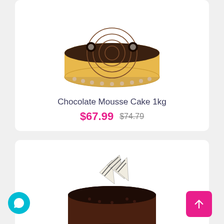[Figure (photo): Chocolate Mousse Cake 1kg - a round cake with yellow sides, chocolate swirl top, and small cream rosettes around the base]
Chocolate Mousse Cake 1kg
$67.99  $74.79
[Figure (photo): Coco Kahlua Mousse Cake Half Kg - a dark chocolate round cake with white chocolate decorative pieces on top]
Coco Kahlua Mousse Cake Half Kg